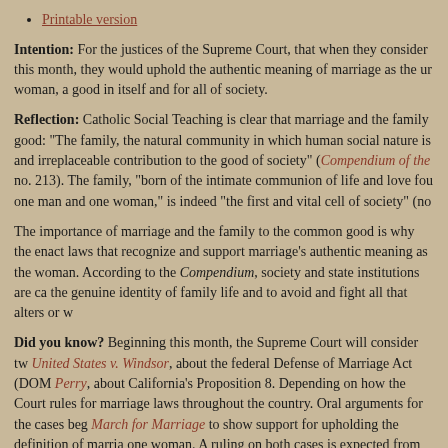Printable version
Intention: For the justices of the Supreme Court, that when they consider this month, they would uphold the authentic meaning of marriage as the union of man and woman, a good in itself and for all of society.
Reflection: Catholic Social Teaching is clear that marriage and the family are a fundamental good: “The family, the natural community in which human social nature is expressed, makes an irreplaceable contribution to the good of society” (Compendium of the Social Doctrine of the Church, no. 213). The family, “born of the intimate communion of life and love founded on marriage between one man and one woman,” is indeed “the first and vital cell of society” (no.
The importance of marriage and the family to the common good is why the state has an obligation to enact laws that recognize and support marriage’s authentic meaning as the permanent union of man and woman. According to the Compendium, society and state institutions are called to “recognize, respect and promote the genuine identity of family life and to avoid and fight all that alters or w
Did you know? Beginning this month, the Supreme Court will consider two cases: United States v. Windsor, about the federal Defense of Marriage Act (DOMA), and Hollingsworth v. Perry, about California’s Proposition 8. Depending on how the Court rules, the outcome could have implications for marriage laws throughout the country. Oral arguments for the cases beg… Join the March for Marriage to show support for upholding the definition of marriage as the union of one man and one woman. A ruling on both cases is expected from the court by June.